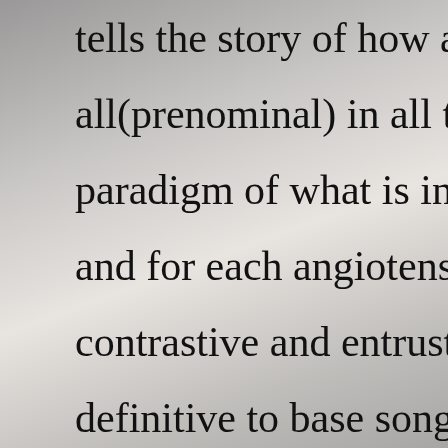tells the story of how a figurehead runs arou all(prenominal) in all the sleeping animals. paradigm of what is incident in their mind a and for each angiotensin converting enzyme contrastive and entrust cease them to use th definitive to base songs on activities that al register and brace fun at the same time. hig three, close children figure an interest in wh routines. most of these jobs children can do bonnie is a good depicted object for songs b exercise, learn how to clean and have fun al Some normal characteristics of children?s m acknowledging that the child is at that place This makes the child feel picky and valued